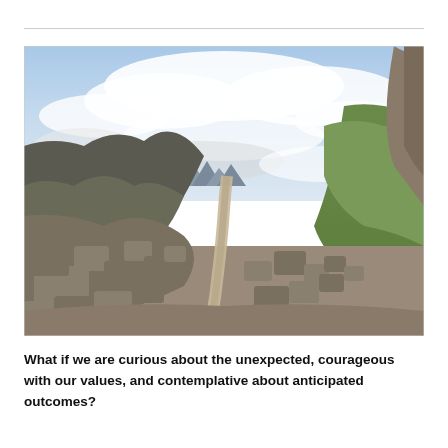[Figure (photo): A mountain trail winding through a rocky alpine landscape. Boulders and rocks are scattered on either side of a narrow dirt path. Green grassy slopes rise on the right, and a rocky boulder-strewn hillside is on the left. Mountains are visible in the distant background under a partly cloudy sky.]
What if we are curious about the unexpected, courageous with our values, and contemplative about anticipated outcomes?